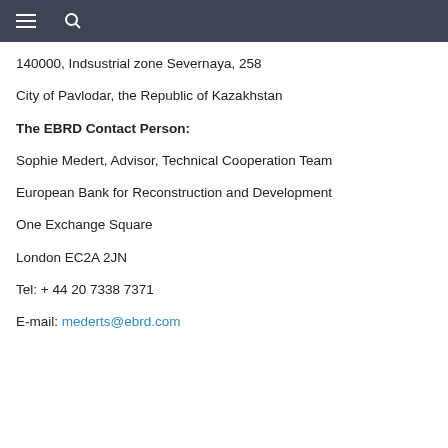[navigation bar with hamburger menu and search icon]
140000, Indsustrial zone Severnaya, 258
City of Pavlodar, the Republic of Kazakhstan
The EBRD Contact Person:
Sophie Medert, Advisor, Technical Cooperation Team
European Bank for Reconstruction and Development
One Exchange Square
London EC2A 2JN
Tel: + 44 20 7338 7371
E-mail: mederts@ebrd.com